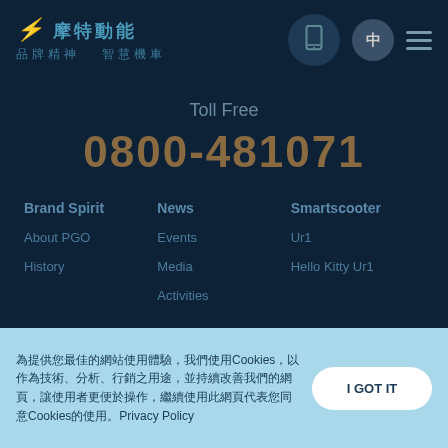PGO 摩特動能 | 品牌精神 智慧機車
Toll Free
0800-481071
Brand Spirit
News
Smartscooter
About PGO
Events
Ur1
History
Media
Hello Kitty Ur1
Activities
為提供您最佳的網站使用體驗，我們使用Cookies，以作為技術、分析、行銷之用途，並持續改善我們的網頁，讓使用者更便於操作，繼續使用此網頁代表您同意Cookies的使用。Privacy Policy